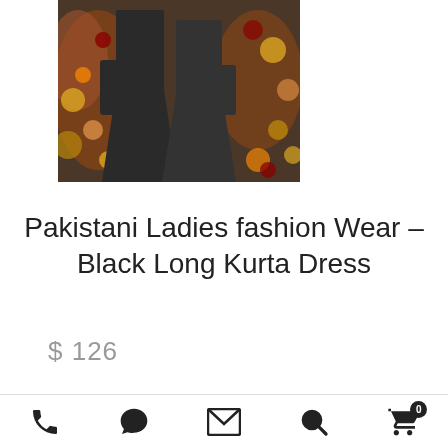[Figure (photo): Pakistani ladies fashion wear - two models in black long kurta dress with floral embroidery, surrounded by autumn leaves backdrop]
Pakistani Ladies fashion Wear – Black Long Kurta Dress
$ 126
[Figure (infographic): Bottom navigation bar with icons: phone, WhatsApp, email/envelope, search, and shopping cart with badge showing 0]